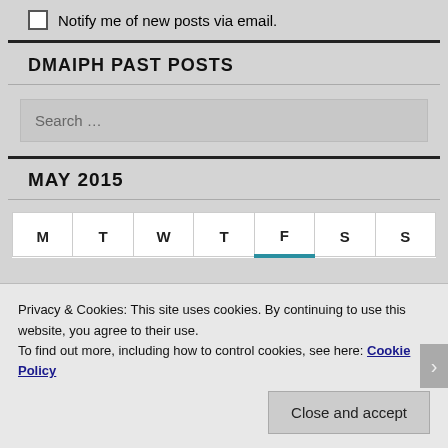Notify me of new posts via email.
DMAIPH PAST POSTS
Search ...
MAY 2015
| M | T | W | T | F | S | S |
| --- | --- | --- | --- | --- | --- | --- |
Privacy & Cookies: This site uses cookies. By continuing to use this website, you agree to their use.
To find out more, including how to control cookies, see here: Cookie Policy
Close and accept